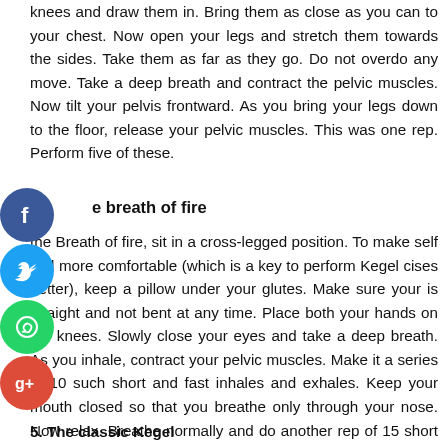knees and draw them in. Bring them as close as you can to your chest. Now open your legs and stretch them towards the sides. Take them as far as they go. Do not overdo any move. Take a deep breath and contract the pelvic muscles. Now tilt your pelvis frontward. As you bring your legs down to the floor, release your pelvic muscles. This was one rep. Perform five of these.
e breath of fire
the Breath of fire, sit in a cross-legged position. To make self feel more comfortable (which is a key to perform Kegel cises better), keep a pillow under your glutes. Make sure your is straight and not bent at any time. Place both your hands on the knees. Slowly close your eyes and take a deep breath. As you inhale, contract your pelvic muscles. Make it a series of 10 such short and fast inhales and exhales. Keep your mouth closed so that you breathe only through your nose. Now relax. Breathe normally and do another rep of 15 short breaths.
5. The classic Kegel